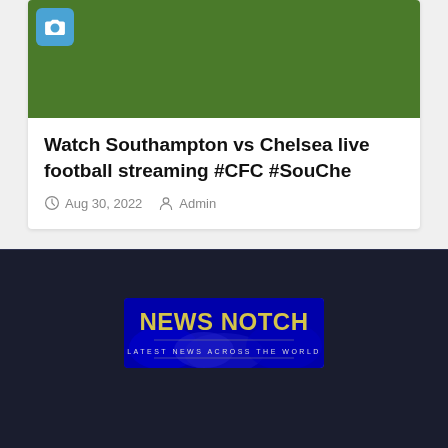[Figure (photo): Football pitch green grass with a blue camera icon button in the top-left corner]
Watch Southampton vs Chelsea live football streaming #CFC #SouChe
Aug 30, 2022  Admin
[Figure (logo): News Notch logo - yellow text on blue background with tagline LATEST NEWS ACROSS THE WORLD]
Proudly powered by WordPress | Theme: Newses by Themeansar